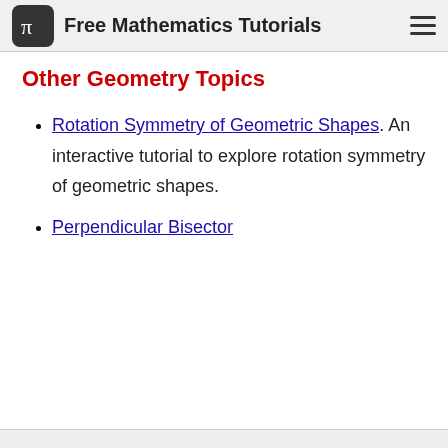Free Mathematics Tutorials
Other Geometry Topics
Rotation Symmetry of Geometric Shapes. An interactive tutorial to explore rotation symmetry of geometric shapes.
Perpendicular Bisector